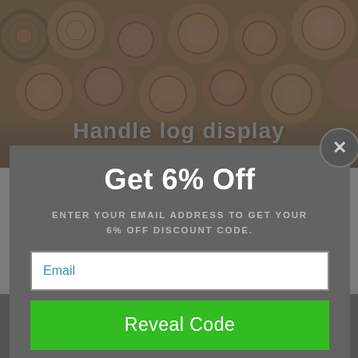[Figure (photo): Background photo of stacked logs/wood rounds viewed from end-grain side, showing circular wood patterns in brown and tan tones]
Handle log display
[Figure (screenshot): Modal popup overlay with 'Get 6% Off' email signup form on a grey semi-transparent background]
Get 6% Off
ENTER YOUR EMAIL ADDRESS TO GET YOUR 6% OFF DISCOUNT CODE.
Email
Reveal Code
*By completing this form you are signing up to receive our emails and can unsubscribe at any time.